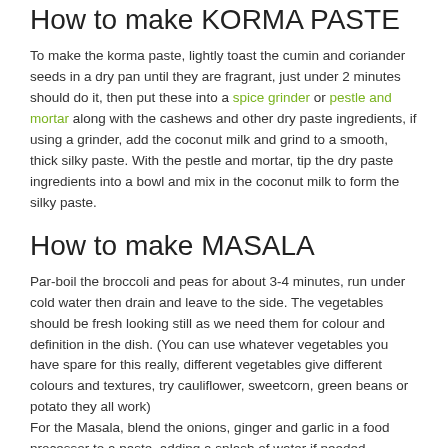How to make KORMA PASTE
To make the korma paste, lightly toast the cumin and coriander seeds in a dry pan until they are fragrant, just under 2 minutes should do it, then put these into a spice grinder or pestle and mortar along with the cashews and other dry paste ingredients, if using a grinder, add the coconut milk and grind to a smooth, thick silky paste. With the pestle and mortar, tip the dry paste ingredients into a bowl and mix in the coconut milk to form the silky paste.
How to make MASALA
Par-boil the broccoli and peas for about 3-4 minutes, run under cold water then drain and leave to the side. The vegetables should be fresh looking still as we need them for colour and definition in the dish. (You can use whatever vegetables you have spare for this really, different vegetables give different colours and textures, try cauliflower, sweetcorn, green beans or potato they all work)
For the Masala, blend the onions, ginger and garlic in a food processor to a paste, adding a splash of water if needed.
Heat the ghee or oil in a deep sided fry pan (that will fit all the ingredients)...